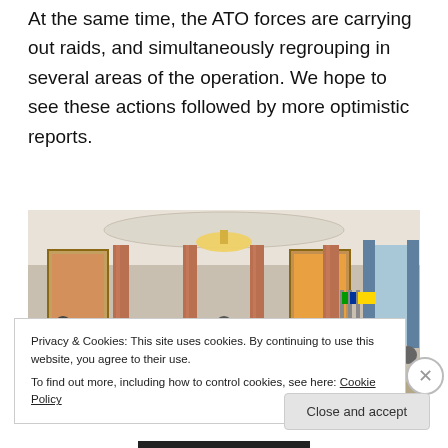At the same time, the ATO forces are carrying out raids, and simultaneously regrouping in several areas of the operation. We hope to see these actions followed by more optimistic reports.
[Figure (photo): A formal diplomatic meeting in an ornate hall with a large oval table surrounded by delegates. Flags are visible in the background including EU, Russian, and Ukrainian flags. Journalists with cameras are visible on the left side.]
Privacy & Cookies: This site uses cookies. By continuing to use this website, you agree to their use.
To find out more, including how to control cookies, see here: Cookie Policy
Close and accept